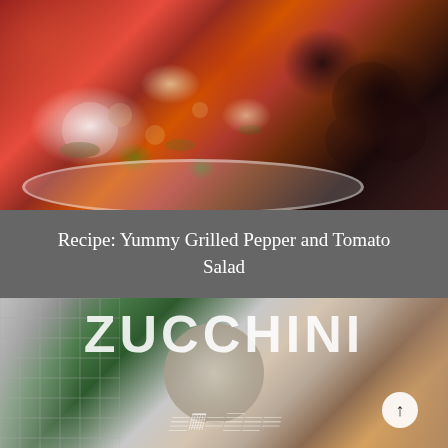[Figure (photo): Close-up photo of a grilled pepper and tomato salad in a white bowl, featuring red peppers, dark olives/plums, pine nuts, white cheese crumbles, and fresh green basil leaves with an olive oil dressing]
Recipe: Yummy Grilled Pepper and Tomato Salad
[Figure (photo): Composite image with large white text 'ZUCCHINI' overlaid on a background showing green vegetable leaves, a decorative plate, and the word 'cheese' in cursive script at the bottom, with a small white circular back-to-top arrow button in the lower right]